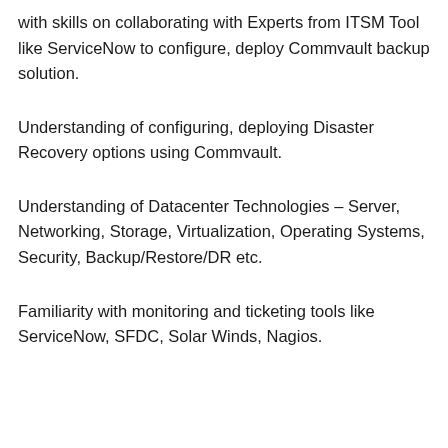with skills on collaborating with Experts from ITSM Tool like ServiceNow to configure, deploy Commvault backup solution.
Understanding of configuring, deploying Disaster Recovery options using Commvault.
Understanding of Datacenter Technologies – Server, Networking, Storage, Virtualization, Operating Systems, Security, Backup/Restore/DR etc.
Familiarity with monitoring and ticketing tools like ServiceNow, SFDC, Solar Winds, Nagios.